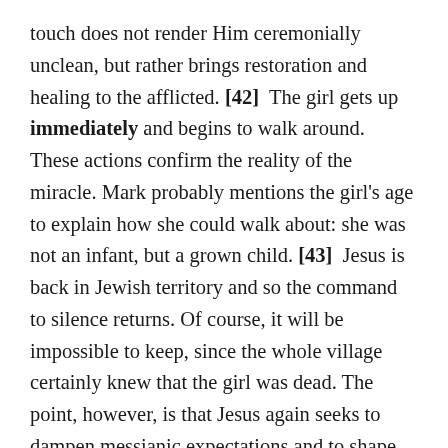touch does not render Him ceremonially unclean, but rather brings restoration and healing to the afflicted. [42] The girl gets up immediately and begins to walk around. These actions confirm the reality of the miracle. Mark probably mentions the girl's age to explain how she could walk about: she was not an infant, but a grown child. [43] Jesus is back in Jewish territory and so the command to silence returns. Of course, it will be impossible to keep, since the whole village certainly knew that the girl was dead. The point, however, is that Jesus again seeks to dampen messianic expectations and to shape His ministry on His own timetable. The command to give the girl something to eat is probably intended to be proof of her full recovery. It also reveals Jesus as a compassionate healer who is personally concerned about the girl herself.